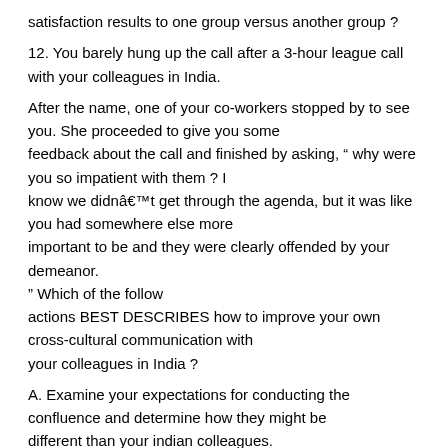satisfaction results to one group versus another group ?
12. You barely hung up the call after a 3-hour league call with your colleagues in India.
After the name, one of your co-workers stopped by to see you. She proceeded to give you some feedback about the call and finished by asking, “ why were you so impatient with them ? I know we didn’t get through the agenda, but it was like you had somewhere else more important to be and they were clearly offended by your demeanor. ” Which of the follow actions BEST DESCRIBES how to improve your own cross-cultural communication with your colleagues in India ?
A. Examine your expectations for conducting the confluence and determine how they might be different than your indian colleagues.
B. Tell your colleague that she should probably run the meet next